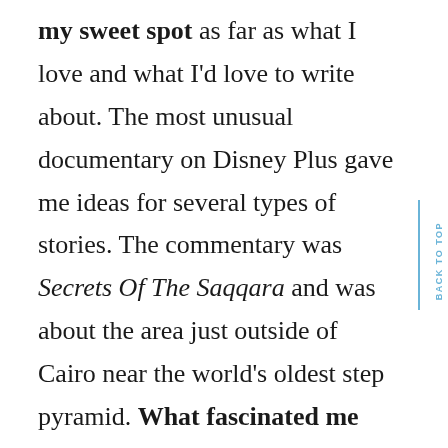my sweet spot as far as what I love and what I'd love to write about. The most unusual documentary on Disney Plus gave me ideas for several types of stories. The commentary was Secrets Of The Saqqara and was about the area just outside of Cairo near the world's oldest step pyramid. What fascinated me was the story of the people doing the dig themselves. The foreman of the diggers had been a foreman all his life. He was teaching his teenage son to be a foreman, the way his father had taught him. His family had been foreman to diggers since his